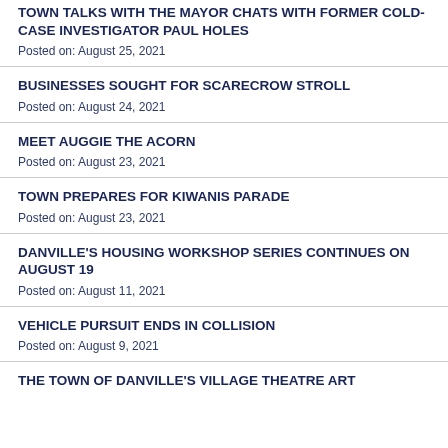TOWN TALKS WITH THE MAYOR CHATS WITH FORMER COLD-CASE INVESTIGATOR PAUL HOLES
Posted on: August 25, 2021
BUSINESSES SOUGHT FOR SCARECROW STROLL
Posted on: August 24, 2021
MEET AUGGIE THE ACORN
Posted on: August 23, 2021
TOWN PREPARES FOR KIWANIS PARADE
Posted on: August 23, 2021
DANVILLE'S HOUSING WORKSHOP SERIES CONTINUES ON AUGUST 19
Posted on: August 11, 2021
VEHICLE PURSUIT ENDS IN COLLISION
Posted on: August 9, 2021
THE TOWN OF DANVILLE'S VILLAGE THEATRE ART…